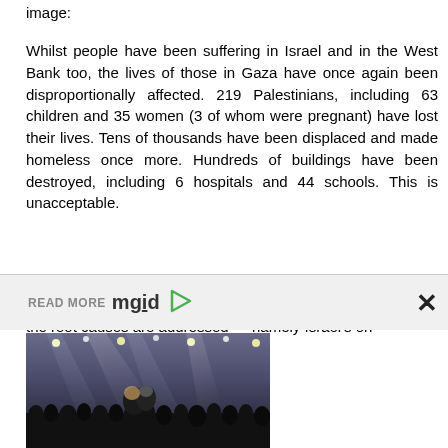image:
Whilst people have been suffering in Israel and in the West Bank too, the lives of those in Gaza have once again been disproportionally affected. 219 Palestinians, including 63 children and 35 women (3 of whom were pregnant) have lost their lives. Tens of thousands have been displaced and made homeless once more. Hundreds of buildings have been destroyed, including 6 hospitals and 44 schools. This is unacceptable.
We welcome the news of the ceasefire, which we hope will hold and protect all civilians from more violence. But unless the root causes are addressed — namely Israel's on
READ MORE mgid
[Figure (photo): A crowd scene photo, appearing to show people at a large gathering or concert with lights in the background, partially visible at bottom of page]